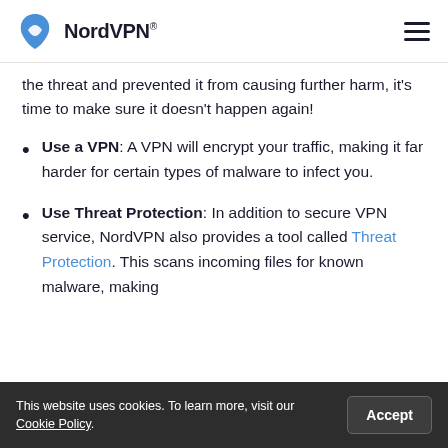NordVPN®
the threat and prevented it from causing further harm, it's time to make sure it doesn't happen again!
Use a VPN: A VPN will encrypt your traffic, making it far harder for certain types of malware to infect you.
Use Threat Protection: In addition to secure VPN service, NordVPN also provides a tool called Threat Protection. This scans incoming files for known malware, making
This website uses cookies. To learn more, visit our Cookie Policy.